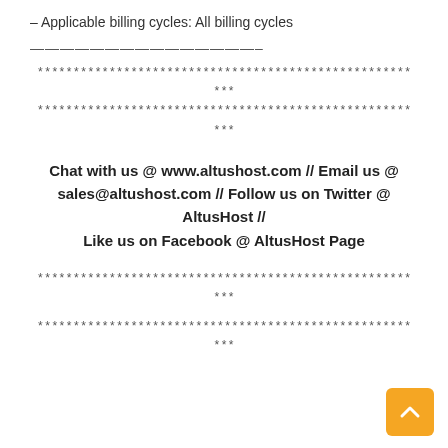– Applicable billing cycles: All billing cycles
———————————————–
****************************************************
***
****************************************************
***
Chat with us @ www.altushost.com // Email us @ sales@altushost.com // Follow us on Twitter @ AltusHost // Like us on Facebook @ AltusHost Page
****************************************************
***
****************************************************
***